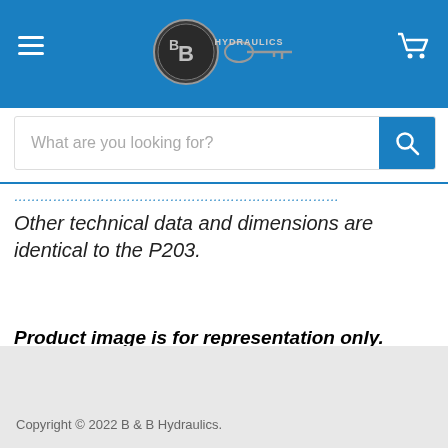B&B Hydraulics
Other technical data and dimensions are identical to the P203.
Product image is for representation only.
Copyright © 2022 B & B Hydraulics.